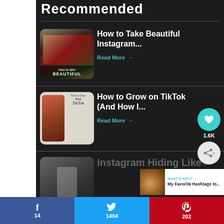Recommended
[Figure (photo): Thumbnail image for 'How to Take Beautiful Instagram' article showing Starbucks cups and dark red flowers]
How to Take Beautiful Instagram...
Read More →
[Figure (photo): Thumbnail image for 'How to Grow on TikTok' article showing a phone mockup with app screenshots]
How to Grow on TikTok (And How I...
Read More →
[Figure (photo): Thumbnail image for 'Instagram Hiding Likes' article showing a hand holding a phone]
Instagram Hiding Likes
1.6K
WHAT'S NEXT → My Favorite Hashtags to...
f 14  | 🐦 1404 | Pinterest 202